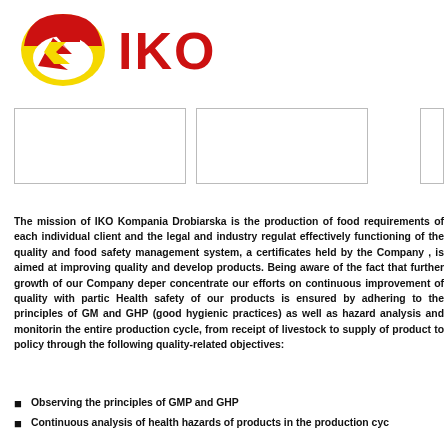[Figure (logo): IKO Kompania Drobiarska logo — circular yellow and red emblem with stylized letter Z/bird shape, followed by large red serif letters IKO]
[Figure (other): Three bordered rectangular boxes/placeholders arranged in a row]
The mission of IKO Kompania Drobiarska is the production of food requirements of each individual client and the legal and industry regulat effectively functioning of the quality and food safety management system, a certificates held by the Company , is aimed at improving quality and develop products. Being aware of the fact that further growth of our Company deper concentrate our efforts on continuous improvement of quality with partic Health safety of our products is ensured by adhering to the principles of GM and GHP (good hygienic practices) as well as hazard analysis and monitorin the entire production cycle, from receipt of livestock to supply of product to policy through the following quality-related objectives:
Observing the principles of GMP and GHP
Continuous analysis of health hazards of products in the production cyc